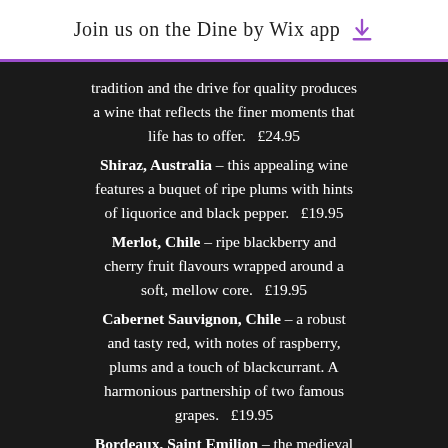Join us on the Dine by Wix app
tradition and the drive for quality produces a wine that reflects the finer moments that life has to offer.   £24.95
Shiraz, Australia – this appealing wine features a buquet of ripe plums with hints of liquorice and black pepper.   £19.95
Merlot, Chile – ripe blackberry and cherry fruit flavours wrapped around a soft, mellow core.   £19.95
Cabernet Sauvignon, Chile – a robust and tasty red, with notes of raspberry, plums and a touch of blackcurrant. A harmonious partnership of two famous grapes.   £19.95
Bordeaux, Saint Emilion – the medieval streets of Saint Emilion lead on to the surrounding vineyards planted predominantly with merlot which gives soft supple elegance.   £29.95